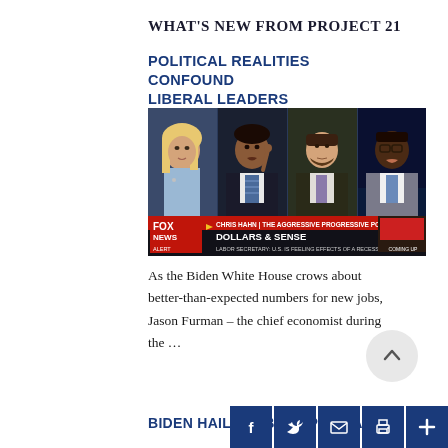WHAT'S NEW FROM PROJECT 21
POLITICAL REALITIES CONFOUND LIBERAL LEADERS
[Figure (screenshot): Fox News television screenshot showing four panelists: a blonde female anchor on far left, a dark-haired male pundit gesturing with finger, a younger male with beard, and a Black male in gray suit. Lower third reads: CHRIS HAHN | THE AGGRESSIVE PROGRESSIVE PODCAST, DOLLARS & SENSE, LABOR SECRETARY: U.S. IS FEELING EFFECTS OF A RECESSION. Fox News logo bottom left. Small inset image bottom right labeled COMING UP.]
As the Biden White House crows about better-than-expected numbers for new jobs, Jason Furman – the chief economist during the …
Read More
BIDEN HAILS JOBS REPORT AS...